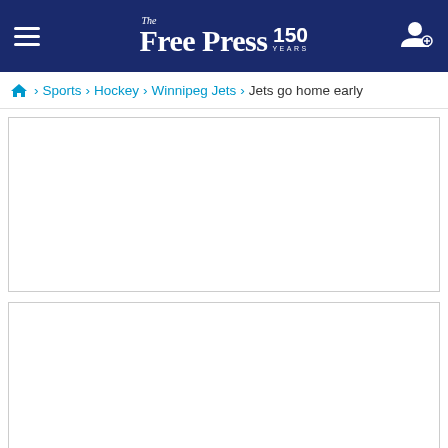The Free Press 150 Years
Home > Sports > Hockey > Winnipeg Jets > Jets go home early
[Figure (other): Empty white advertisement box 1]
[Figure (other): Empty white advertisement box 2]